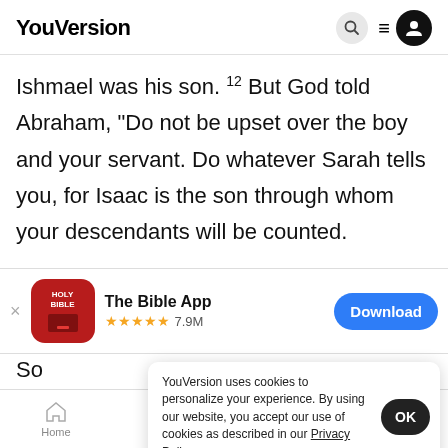YouVersion
Ishmael was his son. 12 But God told Abraham, “Do not be upset over the boy and your servant. Do whatever Sarah tells you, for Isaac is the son through whom your descendants will be counted.
[Figure (screenshot): App store banner for The Bible App showing app icon, 5-star rating 7.9M reviews, and Download button]
So prepared strapped them on Hagar’s shoulders. Then he sent
YouVersion uses cookies to personalize your experience. By using our website, you accept our use of cookies as described in our Privacy Policy.
Home  Bible  Plans  Videos